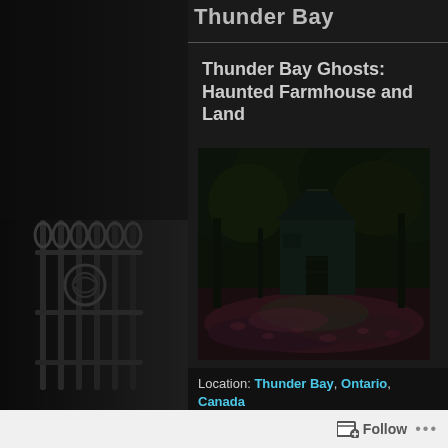Thunder Bay
Thunder Bay Ghosts: Haunted Farmhouse and Land
[Figure (photo): Dark nighttime photograph of an old wooden farmhouse or barn structure surrounded by dense dark trees, with fallen leaves on the ground creating a haunted, eerie atmosphere.]
Location: Thunder Bay, Ontario, Canada